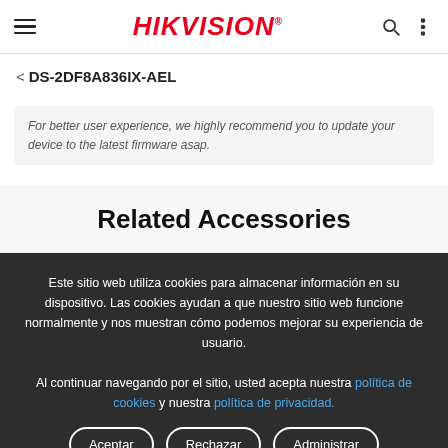HIKVISION — DS-2DF8A836IX-AEL
For better user experience, we highly recommend you to update your device to the latest firmware asap.
Related Accessories
Este sitio web utiliza cookies para almacenar información en su dispositivo. Las cookies ayudan a que nuestro sitio web funcione normalmente y nos muestran cómo podemos mejorar su experiencia de usuario.
Al continuar navegando por el sitio, usted acepta nuestra política de cookies y nuestra política de privacidad.
Aceptar
Rechazar
Administrar